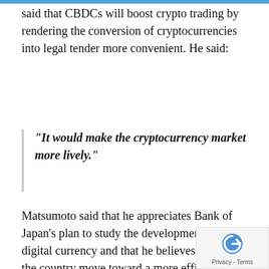said that CBDCs will boost crypto trading by rendering the conversion of cryptocurrencies into legal tender more convenient. He said:
“It would make the cryptocurrency market more lively.”
Matsumoto said that he appreciates Bank of Japan’s plan to study the development of a digital currency and that he believes it will help the country move toward a more efficient, digitized economy. As Modern Consensus reported in late January, Japanese lawmakers are working on a proposal for the country to issue its own CBDC, which could be created in collaboration with private companies.